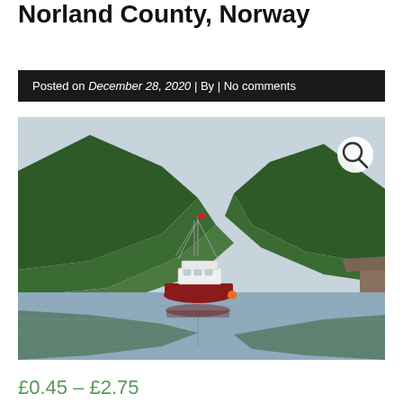Norland County, Norway
Posted on December 28, 2020 | By | No comments
[Figure (photo): A red and white fishing boat moored on a glassy fjord, surrounded by steep green forested mountains in Norland County, Norway. The boat and mountains are reflected clearly in the still water. A magnifying glass icon appears in the upper right corner of the image.]
£0.45 – £2.75